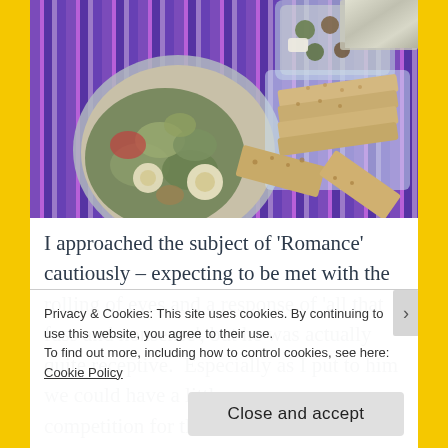[Figure (photo): Overhead photo of a picnic spread on a colorful purple and blue striped fabric/blanket. Includes a bowl of salad with eggs and vegetables, a plastic container with olives and feta cheese, a stack of crackers/flatbreads in a clear plastic container, and a piece of foil in the upper right corner.]
I approached the subject of 'Romance' cautiously – expecting to be met with the rolling of eyes and a response of 'all that fuss and nonsense', but he was actually quite receptive.  Especially as I put to him we could have a little romance competition for the
Privacy & Cookies: This site uses cookies. By continuing to use this website, you agree to their use.
To find out more, including how to control cookies, see here: Cookie Policy
Close and accept